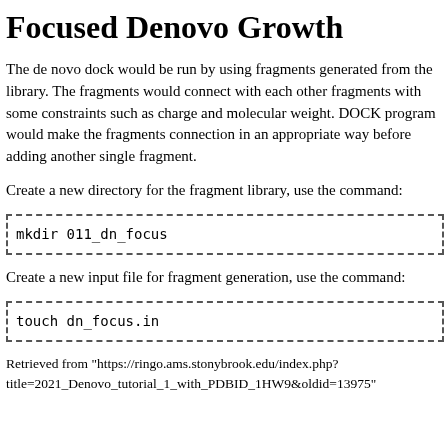Focused Denovo Growth
The de novo dock would be run by using fragments generated from the library. The fragments would connect with each other fragments with some constraints such as charge and molecular weight. DOCK program would make the fragments connection in an appropriate way before adding another single fragment.
Create a new directory for the fragment library, use the command:
mkdir 011_dn_focus
Create a new input file for fragment generation, use the command:
touch dn_focus.in
Retrieved from "https://ringo.ams.stonybrook.edu/index.php?title=2021_Denovo_tutorial_1_with_PDBID_1HW9&oldid=13975"